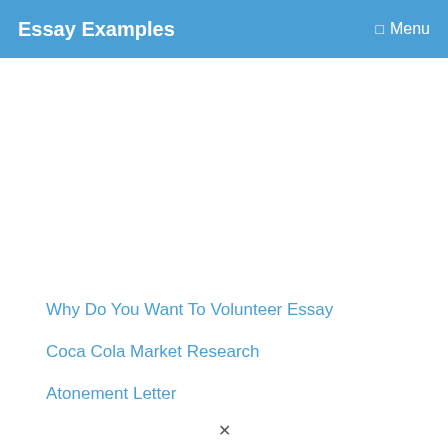Essay Examples  Menu
Why Do You Want To Volunteer Essay
Coca Cola Market Research
Atonement Letter